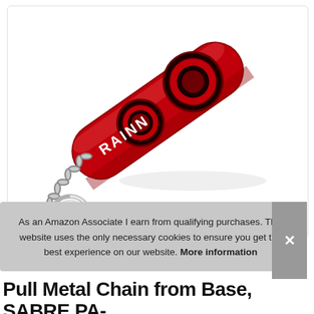[Figure (photo): Red RAINN branded personal safety alarm keychain with two circular speaker buttons on top and a metal chain with a keyring attached at the bottom left.]
As an Amazon Associate I earn from qualifying purchases. This website uses the only necessary cookies to ensure you get the best experience on our website. More information
Pull Metal Chain from Base, SABRE PA-